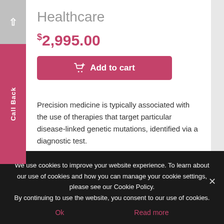Healthcare
$2,995.00
Add to cart
Precision medicine is typically associated with the use of therapies that target particular disease-linked genetic mutations, identified via a diagnostic test.
October 14, 2016
We use cookies to improve your website experience. To learn about our use of cookies and how you can manage your cookie settings, please see our Cookie Policy.
By continuing to use the website, you consent to our use of cookies.
Ok
Read more